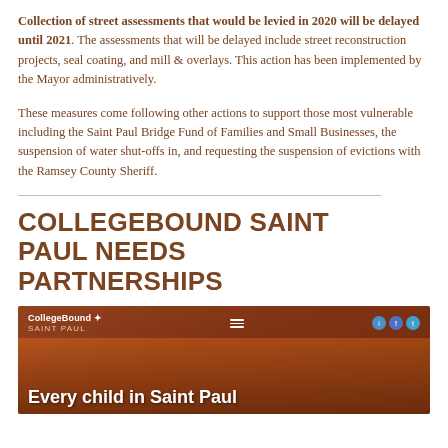Collection of street assessments that would be levied in 2020 will be delayed until 2021. The assessments that will be delayed include street reconstruction projects, seal coating, and mill & overlays. This action has been implemented by the Mayor administratively.
These measures come following other actions to support those most vulnerable including the Saint Paul Bridge Fund of Families and Small Businesses, the suspension of water shut-offs in, and requesting the suspension of evictions with the Ramsey County Sheriff.
COLLEGEBOUND SAINT PAUL NEEDS PARTNERSHIPS
[Figure (screenshot): Screenshot of the CollegeBound Saint Paul website showing a navigation bar with the CollegeBound Saint Paul logo, hamburger menu, and social media icons (Instagram, Facebook, Twitter), over a orange-toned city skyline background image. The tagline 'Every child in Saint Paul' is visible at the bottom.]